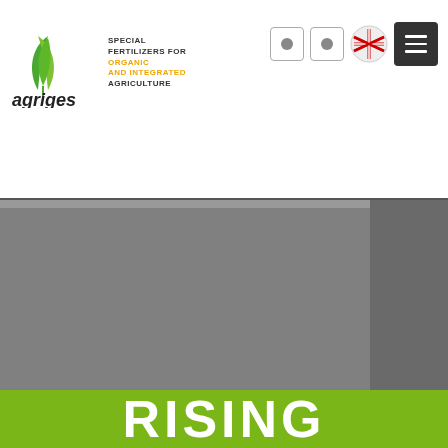[Figure (logo): Agriges logo: green leaf icon on the left, company name 'agriges' in dark italic text, tagline 'SPECIAL FERTILIZERS FOR ORGANIC AND INTEGRATED AGRICULTURE' in black and orange small caps]
[Figure (screenshot): Website header navigation: two small square icon buttons with rounded borders, a red-white-blue flag/ribbon icon, and a dark hamburger menu button]
[Figure (photo): Hero image area showing a gray/muted agriculture or field scene, partially cut off]
RISING